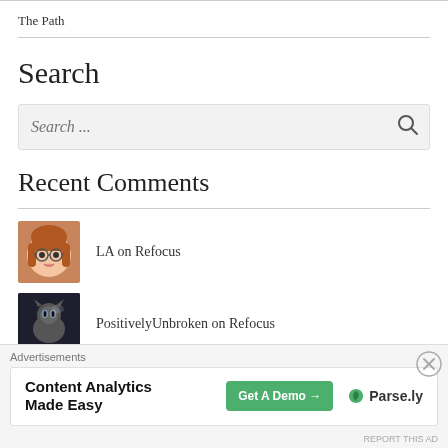The Path
Search
Search ...
Recent Comments
LA on Refocus
[Figure (illustration): Avatar of user LA: cartoon woman with brown hair and glasses]
PositivelyUnbroken on Refocus
[Figure (photo): Avatar of user PositivelyUnbroken: dark photo of a cat]
Advertisements
Content Analytics Made Easy
Get A Demo →
Parse.ly